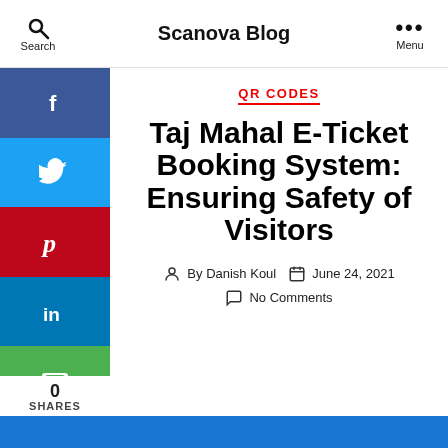Scanova Blog
QR CODES
Taj Mahal E-Ticket Booking System: Ensuring Safety of Visitors
By Danish Koul  June 24, 2021  No Comments